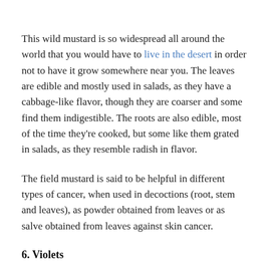This wild mustard is so widespread all around the world that you would have to live in the desert in order not to have it grow somewhere near you. The leaves are edible and mostly used in salads, as they have a cabbage-like flavor, though they are coarser and some find them indigestible. The roots are also edible, most of the time they're cooked, but some like them grated in salads, as they resemble radish in flavor.
The field mustard is said to be helpful in different types of cancer, when used in decoctions (root, stem and leaves), as powder obtained from leaves or as salve obtained from leaves against skin cancer.
6. Violets